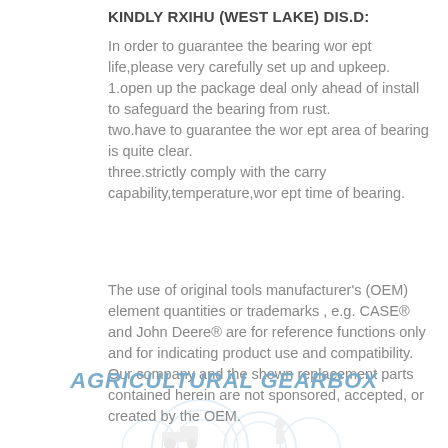KINDLY RXIHU (WEST LAKE) DIS.D:
In order to guarantee the bearing wor ept life,please very carefully set up and upkeep.
1.open up the package deal only ahead of install to safeguard the bearing from rust.
two.have to guarantee the wor ept area of bearing is quite clear.
three.strictly comply with the carry capability,temperature,wor ept time of bearing.
The use of original tools manufacturer's (OEM) element quantities or trademarks , e.g. CASE® and John Deere® are for reference functions only and for indicating product use and compatibility. Our company and the shown replacement parts contained herein are not sponsored, accepted, or created by the OEM.
AGRICULTURAL GEARBOX
[Figure (illustration): Partial view of agricultural gearbox with decorative gear wheel graphics in background and a vehicle/tractor image at the bottom of the page]